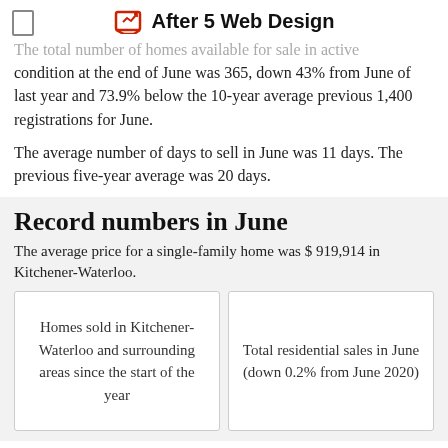After 5 Web Design
The total number of homes available for sale in active condition at the end of June was 365, down 43% from June of last year and 73.9% below the 10-year average previous 1,400 registrations for June.
The average number of days to sell in June was 11 days. The previous five-year average was 20 days.
Record numbers in June
The average price for a single-family home was $ 919,914 in Kitchener-Waterloo.
Homes sold in Kitchener-Waterloo and surrounding areas since the start of the year
Total residential sales in June (down 0.2% from June 2020)